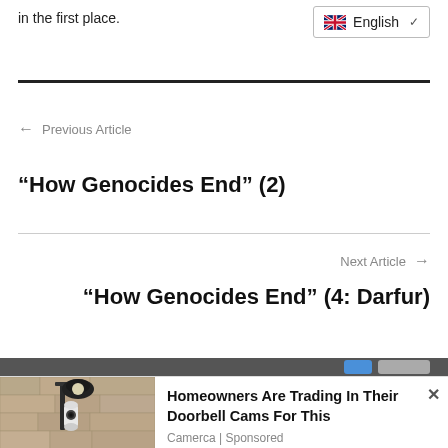in the first place.
English
← Previous Article
“How Genocides End” (2)
Next Article →
“How Genocides End” (4: Darfur)
[Figure (photo): Outdoor security camera mounted on stone wall]
Homeowners Are Trading In Their Doorbell Cams For This
Camerca | Sponsored